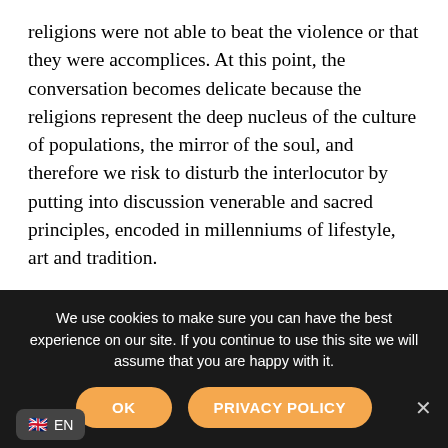religions were not able to beat the violence or that they were accomplices. At this point, the conversation becomes delicate because the religions represent the deep nucleus of the culture of populations, the mirror of the soul, and therefore we risk to disturb the interlocutor by putting into discussion venerable and sacred principles, encoded in millenniums of lifestyle, art and tradition.
To face this topic with the right spirit, let me tell you what happened to me in May 2006 in Tunisia. I was among the ruins of Carthage, near Tunis, and I was visiting the tophet the cemetery of children strewed with funerary stones. Behind each stele is a niche where at that time an earthenware pot.
We use cookies to make sure you can have the best experience on our site. If you continue to use this site we will assume that you are happy with it.